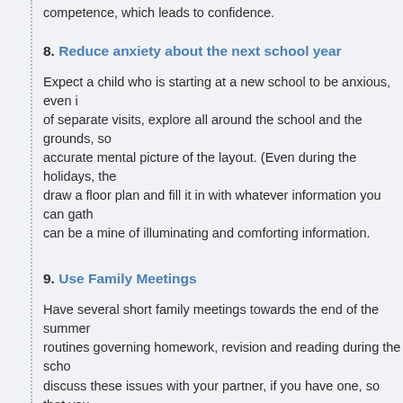competence, which leads to confidence.
8. Reduce anxiety about the next school year
Expect a child who is starting at a new school to be anxious, even i... of separate visits, explore all around the school and the grounds, so... accurate mental picture of the layout. (Even during the holidays, the... draw a floor plan and fill it in with whatever information you can gath... can be a mine of illuminating and comforting information.
9. Use Family Meetings
Have several short family meetings towards the end of the summer... routines governing homework, revision and reading during the scho... discuss these issues with your partner, if you have one, so that you... this particular challenge, but talking over your ideas with a friend firs... your resolve.
10. Bedtime and morning routines
Re-start the term-time bedtimes and getting-up times a whole week... and make for better moods all around.